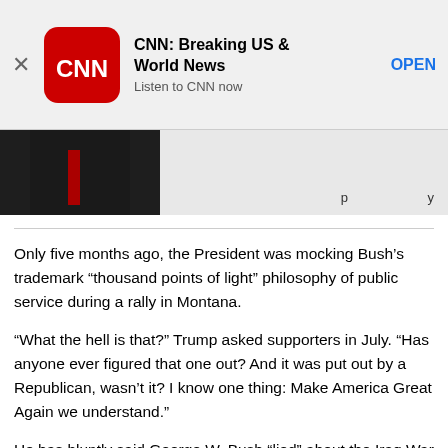[Figure (screenshot): CNN app advertisement banner with CNN logo, title 'CNN: Breaking US & World News', subtitle 'Listen to CNN now', and OPEN button]
[Figure (photo): Partial photo showing a person in dark clothing with what appears to be a red tie, cropped at the bottom of the photo strip area]
Only five months ago, the President was mocking Bush’s trademark “thousand points of light” philosophy of public service during a rally in Montana.
“What the hell is that?” Trump asked supporters in July. “Has anyone ever figured that one out? And it was put out by a Republican, wasn’t it? I know one thing: Make America Great Again we understand.”
He has bluntly said George W. Bush “lied” about the Iraq War – hardly a controversial sentiment among many Democrats, which Trump was for much of his